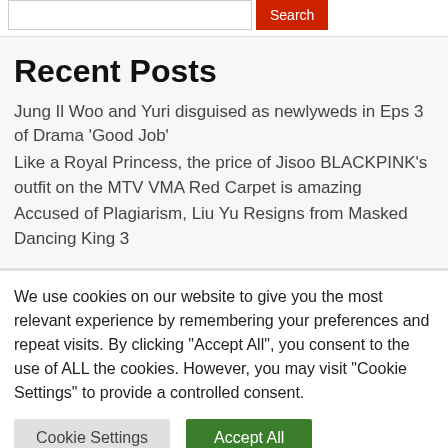Recent Posts
Jung Il Woo and Yuri disguised as newlyweds in Eps 3 of Drama ‘Good Job’
Like a Royal Princess, the price of Jisoo BLACKPINK’s outfit on the MTV VMA Red Carpet is amazing
Accused of Plagiarism, Liu Yu Resigns from Masked Dancing King 3
We use cookies on our website to give you the most relevant experience by remembering your preferences and repeat visits. By clicking “Accept All”, you consent to the use of ALL the cookies. However, you may visit "Cookie Settings" to provide a controlled consent.
Cookie Settings | Accept All